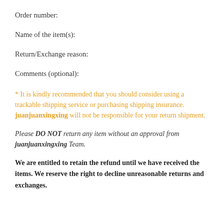Order number:
Name of the item(s):
Return/Exchange reason:
Comments (optional):
* It is kindly recommended that you should consider using a trackable shipping service or purchasing shipping insurance. juanjuanxingxing will not be responsible for your return shipment.
Please DO NOT return any item without an approval from juanjuanxingxing Team.
We are entitled to retain the refund until we have received the items. We reserve the right to decline unreasonable returns and exchanges.